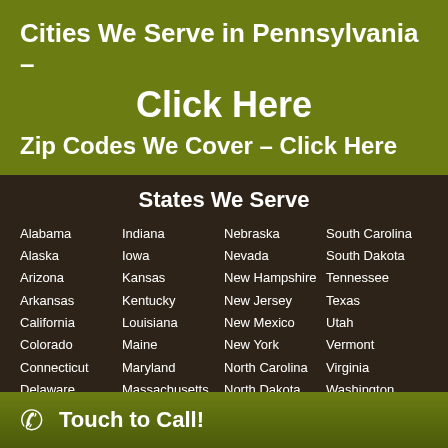Cities We Serve in Pennsylvania – Click Here
Zip Codes We Cover – Click Here
States We Serve
Alabama
Alaska
Arizona
Arkansas
California
Colorado
Connecticut
Delaware
Florida
Indiana
Iowa
Kansas
Kentucky
Louisiana
Maine
Maryland
Massachusetts
Michigan
Nebraska
Nevada
New Hampshire
New Jersey
New Mexico
New York
North Carolina
North Dakota
Ohio
South Carolina
South Dakota
Tennessee
Texas
Utah
Vermont
Virginia
Washington
West Virginia
Touch to Call!